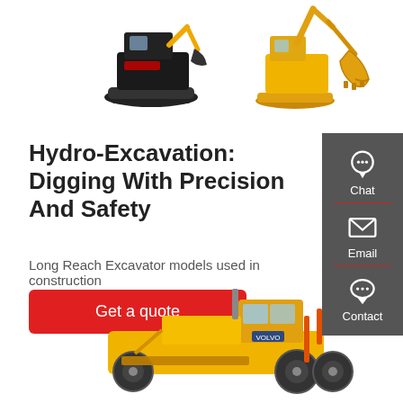[Figure (photo): Two yellow construction excavators (a mini crawler excavator and a long-reach excavator with bucket attachment) on white background, top of page]
Hydro-Excavation: Digging With Precision And Safety
Long Reach Excavator models used in construction
Get a quote
[Figure (screenshot): Sidebar panel with dark grey background containing Chat (headset icon), Email (envelope icon), and Contact (speech bubble icon) buttons]
[Figure (photo): Yellow Volvo motor grader / road construction machine partially visible at bottom of page on white background]